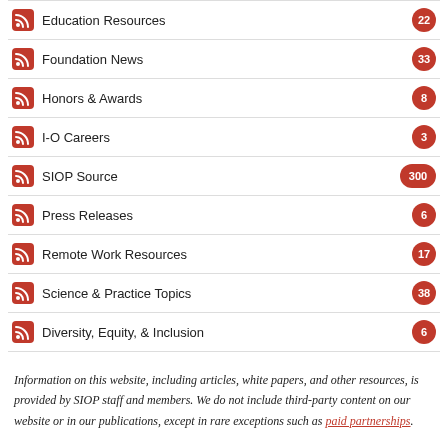Education Resources 22
Foundation News 33
Honors & Awards 8
I-O Careers 3
SIOP Source 300
Press Releases 6
Remote Work Resources 17
Science & Practice Topics 38
Diversity, Equity, & Inclusion 6
Information on this website, including articles, white papers, and other resources, is provided by SIOP staff and members. We do not include third-party content on our website or in our publications, except in rare exceptions such as paid partnerships.